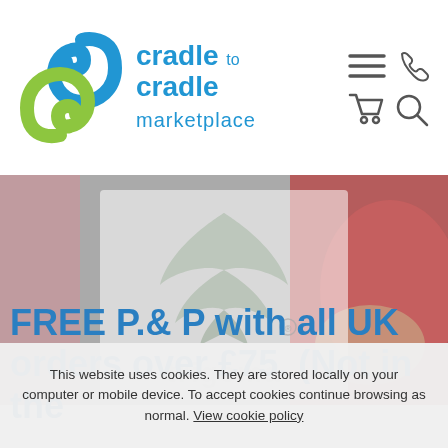[Figure (logo): Cradle to Cradle Marketplace logo with blue and green swirl icon and blue text]
[Figure (screenshot): Trigema brand logo watermark on a product image background with a red textile product visible on the right]
FREE P.& P with all UK orders over £75. (Not in the
This website uses cookies. They are stored locally on your computer or mobile device. To accept cookies continue browsing as normal. View cookie policy